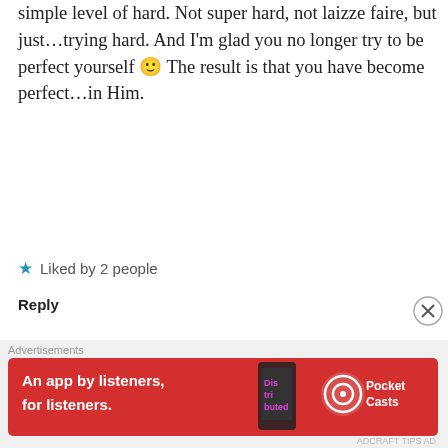simple level of hard. Not super hard, not laizze faire, but just…trying hard. And I'm glad you no longer try to be perfect yourself 🙂 The result is that you have become perfect…in Him.
★ Liked by 2 people
Reply
beautybeyondbones says: September 24, 2016 at 1:16 pm
Thanks for this reflection, Jeff. I agree. Trying hard is definitely
Advertisements
[Figure (infographic): Red Pocket Casts advertisement banner: 'An app by listeners, for listeners.' with phone image]